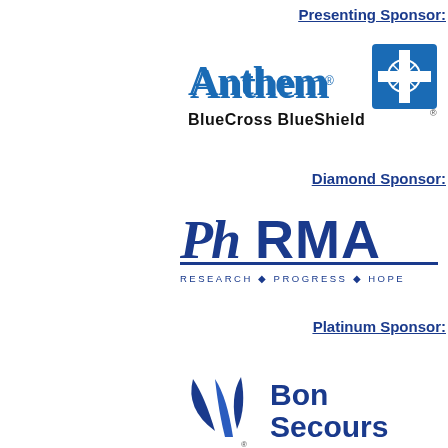Presenting Sponsor:
[Figure (logo): Anthem BlueCross BlueShield logo - blue text with blue cross shield icon]
Diamond Sponsor:
[Figure (logo): PhRMA logo - stylized blue letters with tagline RESEARCH PROGRESS HOPE]
Platinum Sponsor:
[Figure (logo): Bon Secours logo - blue leaf/plant icon with blue text Bon Secours]